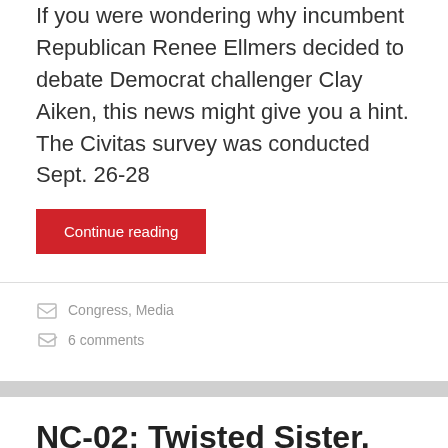If you were wondering why incumbent Republican Renee Ellmers decided to debate Democrat challenger Clay Aiken, this news might give you a hint. The Civitas survey was conducted Sept. 26-28
Continue reading
Congress, Media
6 comments
NC-02: Twisted Sister, Dennis Wicker, and — RepublAIKENs ????
Posted on September 29, 2014 by Brant Clifton